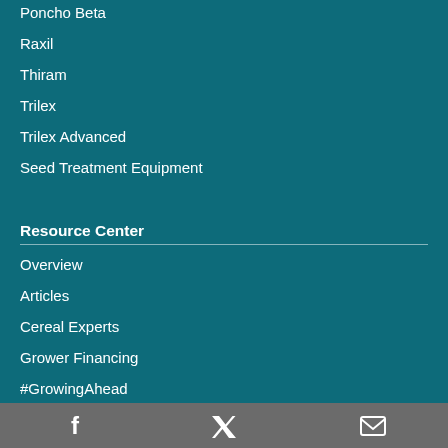Poncho Beta
Raxil
Thiram
Trilex
Trilex Advanced
Seed Treatment Equipment
Resource Center
Overview
Articles
Cereal Experts
Grower Financing
#GrowingAhead
Research and Innovation
[Figure (infographic): Social media icons: Facebook, Twitter, Email in a grey footer bar]